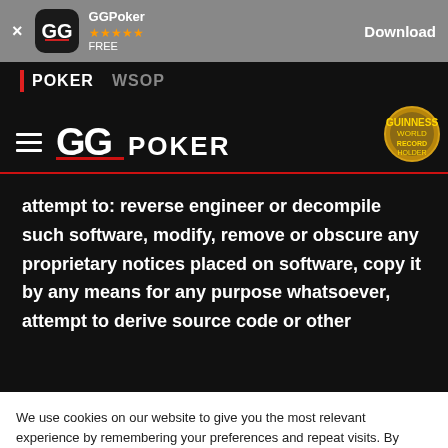[Figure (screenshot): App store install banner showing GGPoker app with 5-star rating, FREE label, and Download button]
POKER   WSOP
[Figure (logo): GGPoker logo with hamburger menu icon and Guinness World Record badge]
attempt to: reverse engineer or decompile such software, modify, remove or obscure any proprietary notices placed on software, copy it by any means for any purpose whatsoever, attempt to derive source code or other
We use cookies on our website to give you the most relevant experience by remembering your preferences and repeat visits. By clicking "OK", you consent to the use of ALL the cookies. Read More